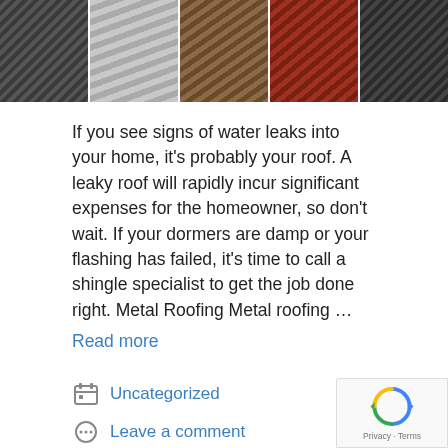[Figure (photo): Strip of five roofing material close-up photos showing different textures and colors: dark charcoal shingles, light gray tile, brown/tan shingles, terracotta/red shingles, and dark black shingles]
If you see signs of water leaks into your home, it's probably your roof. A leaky roof will rapidly incur significant expenses for the homeowner, so don't wait. If your dormers are damp or your flashing has failed, it's time to call a shingle specialist to get the job done right. Metal Roofing Metal roofing … Read more
Uncategorized
Leave a comment